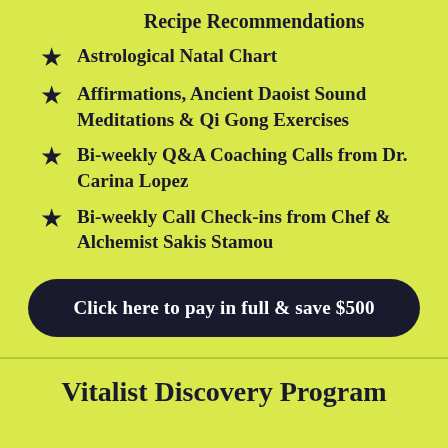Recipe Recommendations
Astrological Natal Chart
Affirmations, Ancient Daoist Sound Meditations & Qi Gong Exercises
Bi-weekly Q&A Coaching Calls from Dr. Carina Lopez
Bi-weekly Call Check-ins from Chef & Alchemist Sakis Stamou
Click here to pay in full & save $500
Vitalist Discovery Program